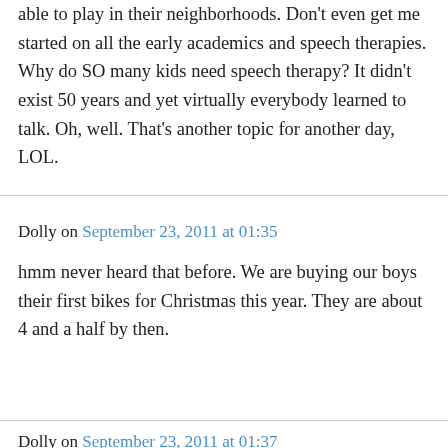able to play in their neighborhoods. Don't even get me started on all the early academics and speech therapies. Why do SO many kids need speech therapy? It didn't exist 50 years and yet virtually everybody learned to talk. Oh, well. That's another topic for another day, LOL.
Dolly on September 23, 2011 at 01:35
hmm never heard that before. We are buying our boys their first bikes for Christmas this year. They are about 4 and a half by then.
Dolly on September 23, 2011 at 01:37
ps we plan on using training wheels and